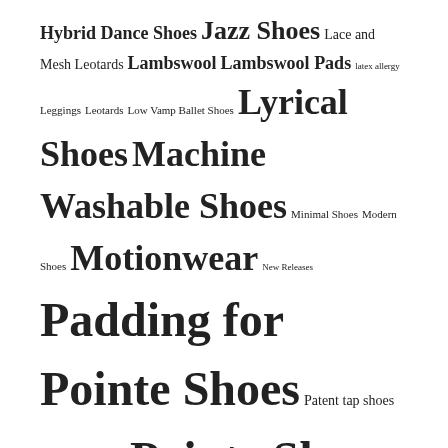[Figure (other): Tag cloud of dance and ballet shoe related terms in varying font sizes indicating frequency/importance. Terms include: Hybrid Dance Shoes, Jazz Shoes, Lace and Mesh Leotards, Lambswool, Lambswool Pads, latex allergy, Leggings, Leotards, Low Vamp Ballet Shoes, Lyrical Shoes, Machine Washable Shoes, Minimal Shoes, Modern Shoes, Motionwear, New Releases, Padding for Pointe Shoes, Patent tap shoes, Plus Tights, Pointe Shoe Accessories, Pointe Shoes, Pre-Sewn Ballet Shoes, Rhythmic Gymnastics, Ribbons for Pointe Shoes, ribbon tie tap shoes, Sansha, Sansha 11C Perform, Sansha 11C Performance, Sansha Pro 1C, Sansha Pro11C, Self Waistband, shiny black tap shoes, Sleeveless Leotards, So Danca, Split Sole Canvas Ballet Flats, Split Sole Tap, Stellar, Stretchy Ribbons, Suffolk, Tank Leotards, Tap Shoes, TLC Ribbons, Toe Pads, Tops & Bottoms, Vegan]